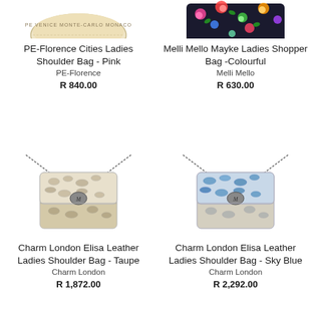[Figure (photo): PE-Florence Cities Ladies Shoulder Bag - Pink, partially cropped at top]
PE-Florence Cities Ladies Shoulder Bag - Pink
PE-Florence
R 840.00
[Figure (photo): Melli Mello Mayke Ladies Shopper Bag - Colourful floral pattern, partially cropped at top]
Melli Mello Mayke Ladies Shopper Bag -Colourful
Melli Mello
R 630.00
[Figure (photo): Charm London Elisa Leather Ladies Shoulder Bag - Taupe, snake print pattern with chain strap]
Charm London Elisa Leather Ladies Shoulder Bag - Taupe
Charm London
R 1,872.00
[Figure (photo): Charm London Elisa Leather Ladies Shoulder Bag - Sky Blue, snake print pattern with chain strap and blue accents]
Charm London Elisa Leather Ladies Shoulder Bag - Sky Blue
Charm London
R 2,292.00